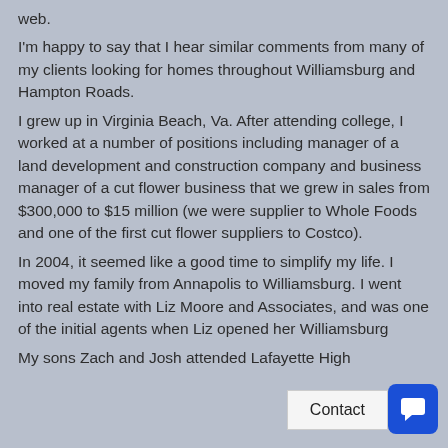web.
I'm happy to say that I hear similar comments from many of my clients looking for homes throughout Williamsburg and Hampton Roads.
I grew up in Virginia Beach, Va. After attending college, I worked at a number of positions including manager of a land development and construction company and business manager of a cut flower business that we grew in sales from $300,000 to $15 million (we were supplier to Whole Foods and one of the first cut flower suppliers to Costco).
In 2004, it seemed like a good time to simplify my life. I moved my family from Annapolis to Williamsburg. I went into real estate with Liz Moore and Associates, and was one of the initial agents when Liz opened her Williamsburg
My sons Zach and Josh attended Lafayette High